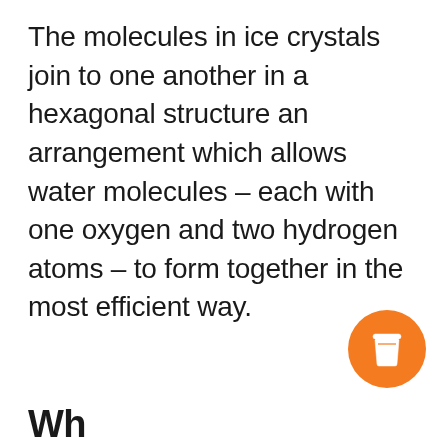The molecules in ice crystals join to one another in a hexagonal structure an arrangement which allows water molecules – each with one oxygen and two hydrogen atoms – to form together in the most efficient way.
[Figure (illustration): Orange circular button with a coffee cup icon (take-away coffee cup with lid)]
Wh...